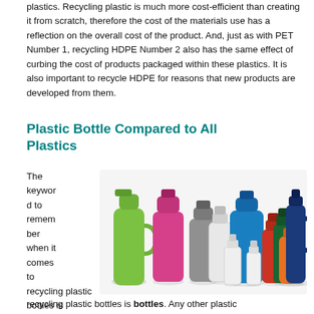plastics. Recycling plastic is much more cost-efficient than creating it from scratch, therefore the cost of the materials use has a reflection on the overall cost of the product. And, just as with PET Number 1, recycling HDPE Number 2 also has the same effect of curbing the cost of products packaged within these plastics. It is also important to recycle HDPE for reasons that new products are developed from them.
Plastic Bottle Compared to All Plastics
The keyword to remember when it comes to recycling plastic bottles is bottles. Any other plastic
[Figure (photo): A collection of colorful plastic bottles and containers of various shapes and sizes arranged together, including green, pink/magenta, blue, gray, white, red, dark green, orange, and dark blue bottles.]